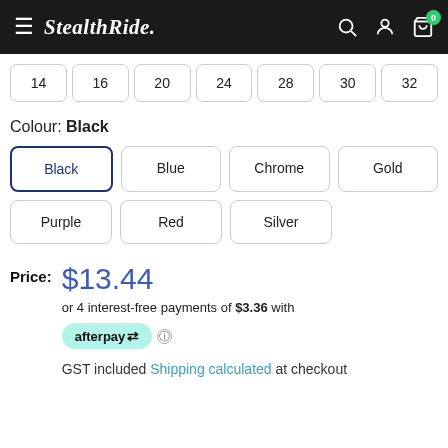StealthRide. [navigation icons] 0
14  16  20  24  28  30  32
Colour: Black
Black  Blue  Chrome  Gold
Purple  Red  Silver
Price: $13.44
or 4 interest-free payments of $3.36 with afterpay
GST included Shipping calculated at checkout